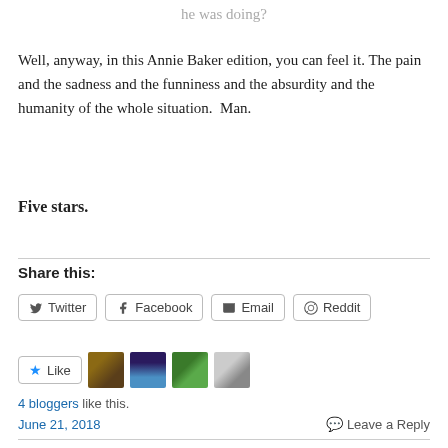he was doing?
Well, anyway, in this Annie Baker edition, you can feel it. The pain and the sadness and the funniness and the absurdity and the humanity of the whole situation.  Man.
Five stars.
Share this:
Twitter  Facebook  Email  Reddit
Like
4 bloggers like this.
June 21, 2018
Leave a Reply